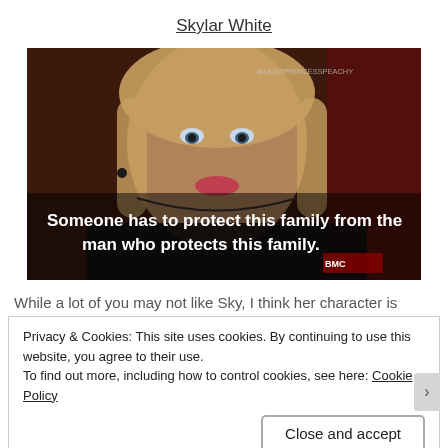Skylar White
[Figure (photo): Screenshot from Breaking Bad showing Skylar White (played by Anna Gunn) with text overlay: 'Someone has to protect this family from the man who protects this family.' with BMC logo watermark. Watermark 'IMJUSTPRINCESSPEACHY' visible top right.]
While a lot of you may not like Sky, I think her character is
Privacy & Cookies: This site uses cookies. By continuing to use this website, you agree to their use.
To find out more, including how to control cookies, see here: Cookie Policy
Close and accept